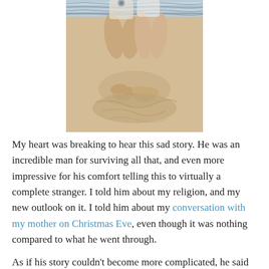[Figure (photo): Two people sitting on sand at a beach, photographed from above, legs and feet visible with sand around them, striped fabric or towel visible at the top]
My heart was breaking to hear this sad story. He was an incredible man for surviving all that, and even more impressive for his comfort telling this to virtually a complete stranger. I told him about my religion, and my new outlook on it. I told him about my conversation with my mother on Christmas Eve, even though it was nothing compared to what he went through.
As if his story couldn't become more complicated, he said his...